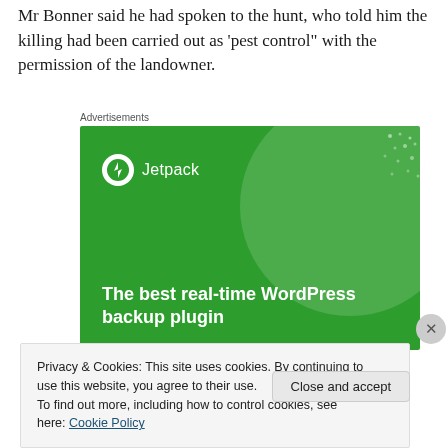Mr Bonner said he had spoken to the hunt, who told him the killing had been carried out as 'pest control" with the permission of the landowner.
Advertisements
[Figure (illustration): Jetpack WordPress plugin advertisement on a green background with white bold text 'The best real-time WordPress backup plugin' and the Jetpack logo with lightning bolt icon.]
Privacy & Cookies: This site uses cookies. By continuing to use this website, you agree to their use.
To find out more, including how to control cookies, see here: Cookie Policy
Close and accept